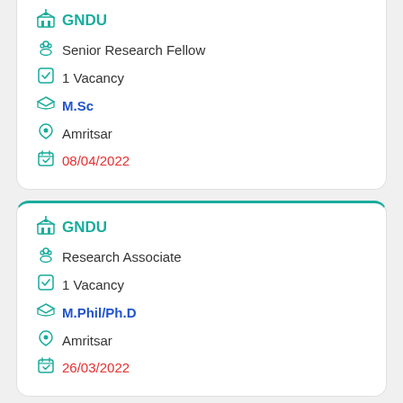GNDU | Senior Research Fellow | 1 Vacancy | M.Sc | Amritsar | 08/04/2022
GNDU | Research Associate | 1 Vacancy | M.Phil/Ph.D | Amritsar | 26/03/2022
GNDU (partial card)